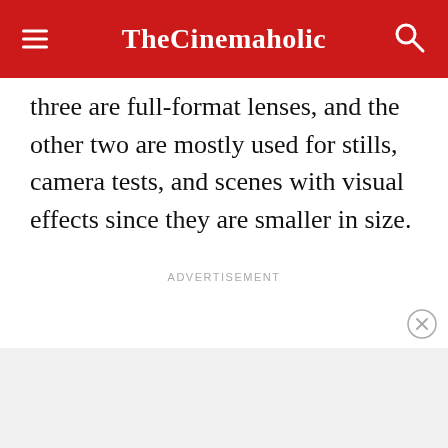TheCinemaholic
three are full-format lenses, and the other two are mostly used for stills, camera tests, and scenes with visual effects since they are smaller in size.
ADVERTISEMENT